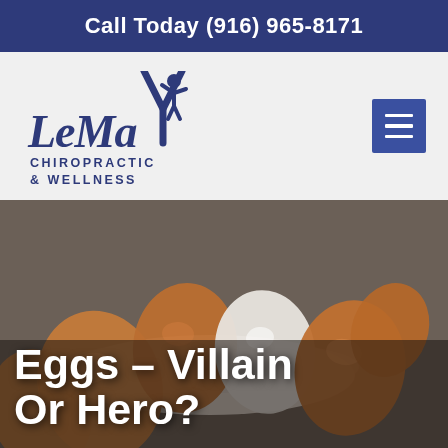Call Today (916) 965-8171
[Figure (logo): LeMay Chiropractic & Wellness logo with stylized person figure]
[Figure (photo): Bowl of brown and white eggs on a grey background, with dark overlay. Text overlay reads: Eggs – Villain Or Hero?]
Eggs – Villain Or Hero?